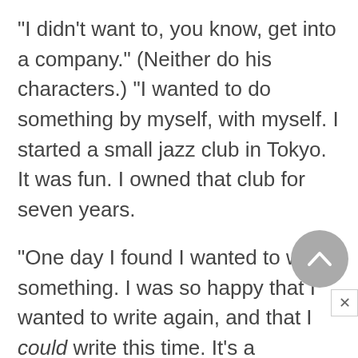"I didn't want to, you know, get into a company." (Neither do his characters.) "I wanted to do something by myself, with myself. I started a small jazz club in Tokyo. It was fun. I owned that club for seven years.
"One day I found I wanted to write something. I was so happy that I wanted to write again, and that I could write this time. It's a blessing. Since then I've been happy all the time, because I can write."